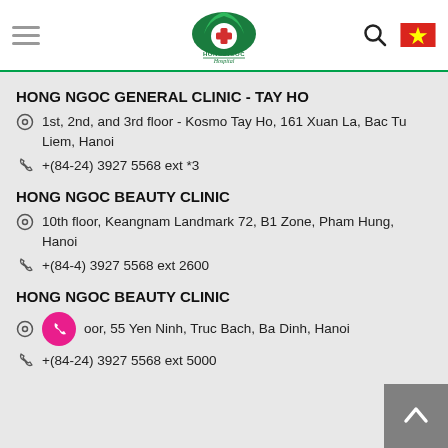[Figure (logo): Hong Ngoc Hospital logo — green lotus/fan shape with red cross, text HONG NGOC Hospital in green]
HONG NGOC GENERAL CLINIC - TAY HO
1st, 2nd, and 3rd floor - Kosmo Tay Ho, 161 Xuan La, Bac Tu Liem, Hanoi
+(84-24) 3927 5568 ext *3
HONG NGOC BEAUTY CLINIC
10th floor, Keangnam Landmark 72, B1 Zone, Pham Hung, Hanoi
+(84-4) 3927 5568 ext 2600
HONG NGOC BEAUTY CLINIC
oor, 55 Yen Ninh, Truc Bach, Ba Dinh, Hanoi
+(84-24) 3927 5568 ext 5000